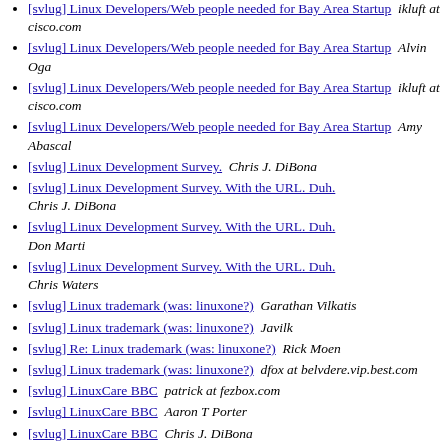[svlug] Linux Developers/Web people needed for Bay Area Startup  ikluft at cisco.com
[svlug] Linux Developers/Web people needed for Bay Area Startup  Alvin Oga
[svlug] Linux Developers/Web people needed for Bay Area Startup  ikluft at cisco.com
[svlug] Linux Developers/Web people needed for Bay Area Startup  Amy Abascal
[svlug] Linux Development Survey.  Chris J. DiBona
[svlug] Linux Development Survey. With the URL. Duh.  Chris J. DiBona
[svlug] Linux Development Survey. With the URL. Duh.  Don Marti
[svlug] Linux Development Survey. With the URL. Duh.  Chris Waters
[svlug] Linux trademark (was: linuxone?)  Garathan Vilkatis
[svlug] Linux trademark (was: linuxone?)  Javilk
[svlug] Re: Linux trademark (was: linuxone?)  Rick Moen
[svlug] Linux trademark (was: linuxone?)  dfox at belvdere.vip.best.com
[svlug] LinuxCare BBC  patrick at fezbox.com
[svlug] LinuxCare BBC  Aaron T Porter
[svlug] LinuxCare BBC  Chris J. DiBona
[svlug] LinuxCare BBC  Rick Moen